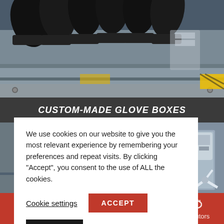[Figure (photo): Industrial glove box equipment with black rubber gloves attached, metallic enclosure visible in background]
CUSTOM-MADE GLOVE BOXES
[Figure (photo): Industrial glove box enclosure with mechanical arms and control equipment, steel construction]
We use cookies on our website to give you the most relevant experience by remembering your preferences and repeat visits. By clicking “Accept”, you consent to the use of ALL the cookies.
Cookie settings
ACCEPT
Reject All
Quote  Resources  Call-Back  Distributors